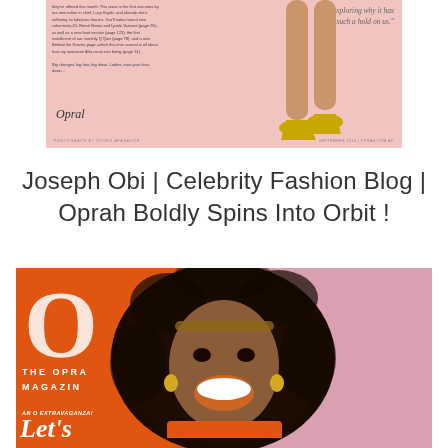[Figure (photo): Oprah Winfrey magazine editorial page with pink background, showing legs in gold heels, editorial text on left, italic quote on right 'exploring why it has such a hold on us.', Oprah signature, and footer with photography credit and 'SEPTEMBER 2016 | OPRAH.COM.AU']
Joseph Obi | Celebrity Fashion Blog | Oprah Boldly Spins Into Orbit !
[Figure (photo): Cover of O The Oprah Magazine featuring Oprah Winfrey with a large natural Afro hairstyle, wearing an orange top, smiling broadly, with gold drop earrings. Orange background on left with large white 'O' logo and text 'THE OPRAH MAGAZINE', 'AN O EXTRAVAGANZA!', and 'Let's' in italic. Pink background on right.]